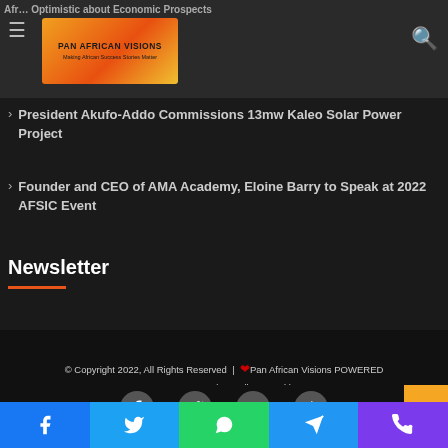Pan African Visions - Making African Success Stories Matter
President Akufo-Addo Commissions 13mw Kaleo Solar Power Project
Founder and CEO of AMA Academy, Eloine Barry to Speak at 2022 AFSIC Event
Newsletter
© Copyright 2022, All Rights Reserved | Pan African Visions POWERED BY BRANDFOLD DIGITAL | Proudly Hosted by GODADDY